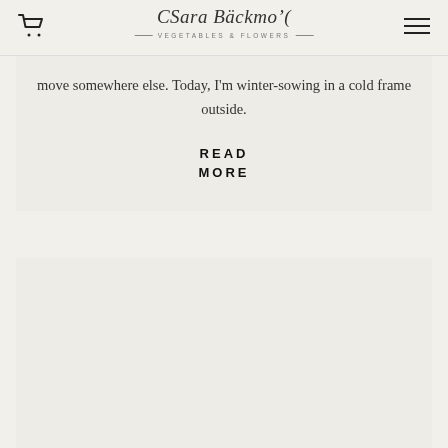Sara Bäckmo — Vegetables & Flowers
move somewhere else. Today, I'm winter-sowing in a cold frame outside.
READ MORE
[Figure (other): Empty lower content block with beige/cream background]